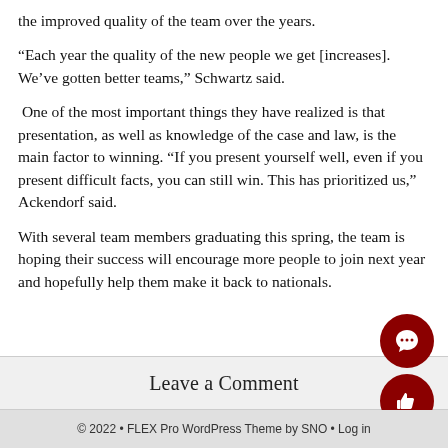the improved quality of the team over the years.
“Each year the quality of the new people we get [increases]. We’ve gotten better teams,” Schwartz said.
One of the most important things they have realized is that presentation, as well as knowledge of the case and law, is the main factor to winning. “If you present yourself well, even if you present difficult facts, you can still win. This has prioritized us,” Ackendorf said.
With several team members graduating this spring, the team is hoping their success will encourage more people to join next year and hopefully help them make it back to nationals.
Leave a Comment
© 2022 • FLEX Pro WordPress Theme by SNO • Log in